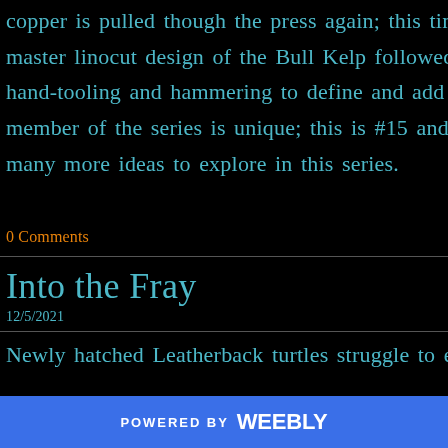copper is pulled though the press again; this time w master linocut design of the Bull Kelp followed by ad hand-tooling and hammering to define and add texture member of the series is unique; this is #15 and I still h many more ideas to explore in this series.
0 Comments
Into the Fray
12/5/2021
Newly hatched Leatherback turtles struggle to enter th
POWERED BY weebly